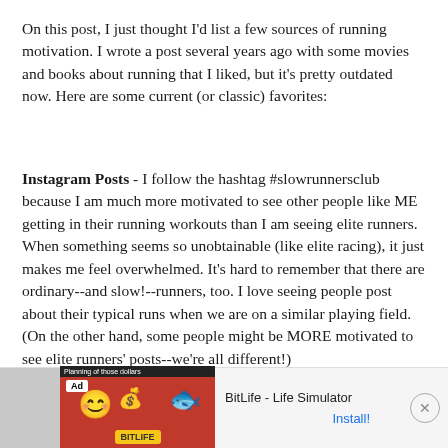On this post, I just thought I'd list a few sources of running motivation. I wrote a post several years ago with some movies and books about running that I liked, but it's pretty outdated now. Here are some current (or classic) favorites:
Instagram Posts - I follow the hashtag #slowrunnersclub because I am much more motivated to see other people like ME getting in their running workouts than I am seeing elite runners. When something seems so unobtainable (like elite racing), it just makes me feel overwhelmed. It's hard to remember that there are ordinary--and slow!--runners, too. I love seeing people post about their typical runs when we are on a similar playing field. (On the other hand, some people might be MORE motivated to see elite runners' posts--we're all different!)
[Figure (screenshot): Ad banner for BitLife - Life Simulator app showing Ad badge, emoji face, coins graphic, sperm logo, and an Install button on the right]